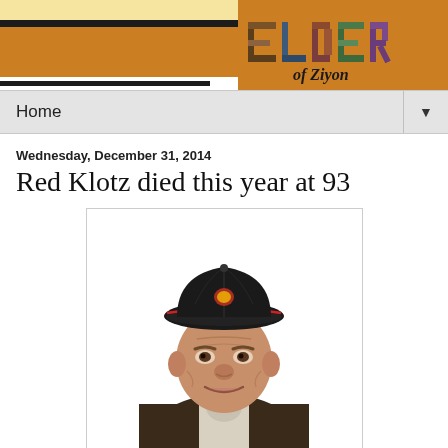Elder of Ziyon
Home
Wednesday, December 31, 2014
Red Klotz died this year at 93
[Figure (photo): Elderly man wearing a black baseball cap with red trim, smiling, wearing a dark brown blazer over a light-colored shirt, photographed against a white background.]